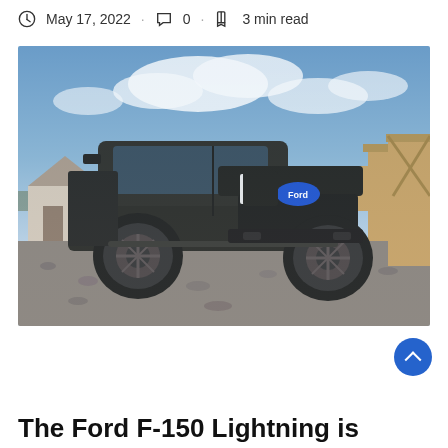May 17, 2022 · 0 · 3 min read
[Figure (photo): Ford F-150 Lightning electric pickup truck in black, parked on a gravel construction site with a wooden structure on the right and a house in the background under a partly cloudy sky.]
The Ford F-150 Lightning is